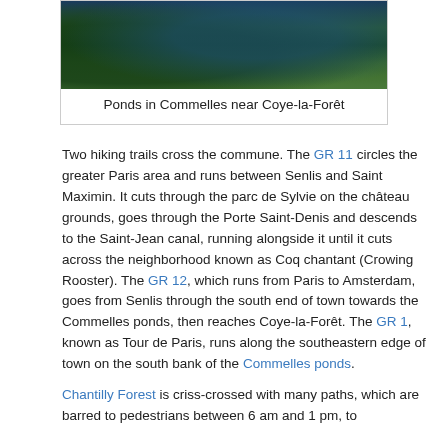[Figure (photo): Photograph of ponds in Commelles near Coye-la-Forêt, showing water surrounded by dense green forest vegetation.]
Ponds in Commelles near Coye-la-Forêt
Two hiking trails cross the commune. The GR 11 circles the greater Paris area and runs between Senlis and Saint Maximin. It cuts through the parc de Sylvie on the château grounds, goes through the Porte Saint-Denis and descends to the Saint-Jean canal, running alongside it until it cuts across the neighborhood known as Coq chantant (Crowing Rooster). The GR 12, which runs from Paris to Amsterdam, goes from Senlis through the south end of town towards the Commelles ponds, then reaches Coye-la-Forêt. The GR 1, known as Tour de Paris, runs along the southeastern edge of town on the south bank of the Commelles ponds.
Chantilly Forest is criss-crossed with many paths, which are barred to pedestrians between 6 am and 1 pm, to